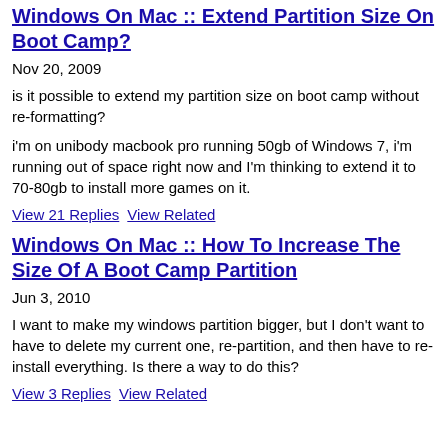Windows On Mac :: Extend Partition Size On Boot Camp?
Nov 20, 2009
is it possible to extend my partition size on boot camp without re-formatting?
i'm on unibody macbook pro running 50gb of Windows 7, i'm running out of space right now and I'm thinking to extend it to 70-80gb to install more games on it.
View 21 Replies   View Related
Windows On Mac :: How To Increase The Size Of A Boot Camp Partition
Jun 3, 2010
I want to make my windows partition bigger, but I don't want to have to delete my current one, re-partition, and then have to re-install everything. Is there a way to do this?
View 3 Replies   View Related